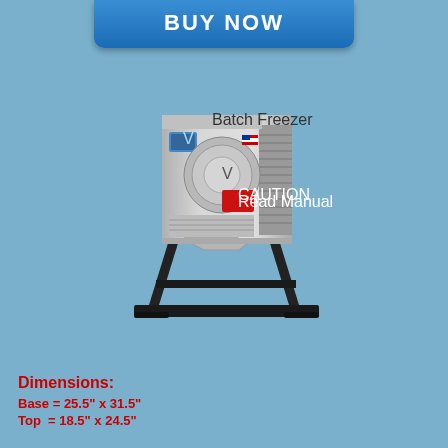BUY NOW
[Figure (photo): Commercial gelato/ice cream batch freezer machine on a black metal stand, stainless steel body with front panel controls, small screen, and caution label, with a V-shaped churn opening]
Dimensions:
Base = 25.5" x 31.5"
Top  = 18.5" x 24.5"